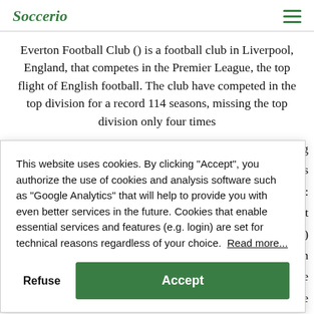Soccerio
Everton Football Club () is a football club in Liverpool, England, that competes in the Premier League, the top flight of English football. The club have competed in the top division for a record 114 seasons, missing the top division only four times (... trophies: most most) d in he league four verton experienced a lull in the immediate post World War
This website uses cookies. By clicking "Accept", you authorize the use of cookies and analysis software such as "Google Analytics" that will help to provide you with even better services in the future. Cookies that enable essential services and features (e.g. login) are set for technical reasons regardless of your choice. Read more...